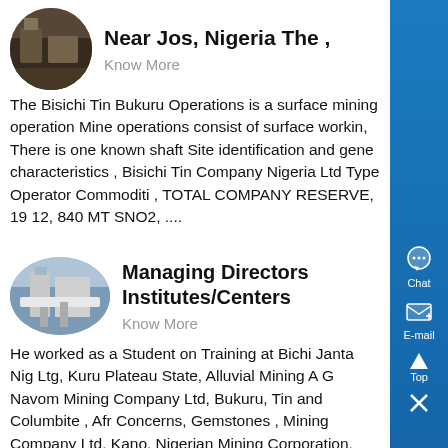[Figure (photo): Circular thumbnail photo of a mining site near Jos, Nigeria]
Near Jos, Nigeria The ,
Know More
The Bisichi Tin Bukuru Operations is a surface mining operation Mine operations consist of surface working, There is one known shaft Site identification and general characteristics , Bisichi Tin Company Nigeria Ltd Type Operator Commoditi , TOTAL COMPANY RESERVE, 19 12, 840 MT SNO2, ....
[Figure (photo): Oval thumbnail photo of an industrial/mining facility for Managing Directors Institutes/Centers]
Managing Directors Institutes/Centers
Know More
He worked as a Student on Training at Bichi Janta Nig Ltg, Kuru Plateau State, Alluvial Mining A G Navom Mining Company Ltd, Bukuru, Tin and Columbite , Afr Concerns, Gemstones , Mining Company Ltd, Kano, Nigerian Mining Corporation, Granite Quarrying and